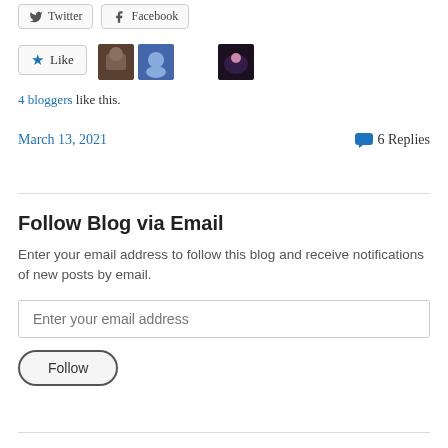[Figure (other): Twitter and Facebook social share buttons]
[Figure (other): Like button with star icon and three blogger avatar thumbnails]
4 bloggers like this.
March 13, 2021    6 Replies
Follow Blog via Email
Enter your email address to follow this blog and receive notifications of new posts by email.
[Figure (other): Email input field with placeholder text 'Enter your email address']
[Figure (other): Follow button with rounded border]